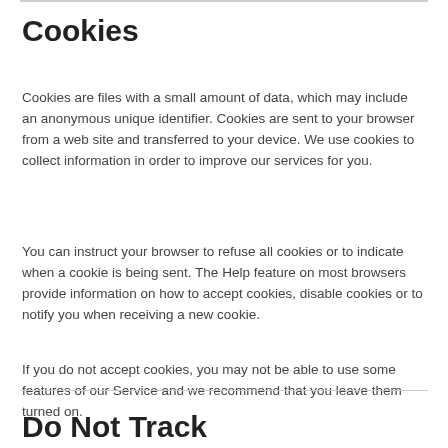Cookies
Cookies are files with a small amount of data, which may include an anonymous unique identifier. Cookies are sent to your browser from a web site and transferred to your device. We use cookies to collect information in order to improve our services for you.
You can instruct your browser to refuse all cookies or to indicate when a cookie is being sent. The Help feature on most browsers provide information on how to accept cookies, disable cookies or to notify you when receiving a new cookie.
If you do not accept cookies, you may not be able to use some features of our Service and we recommend that you leave them turned on.
Do Not Track